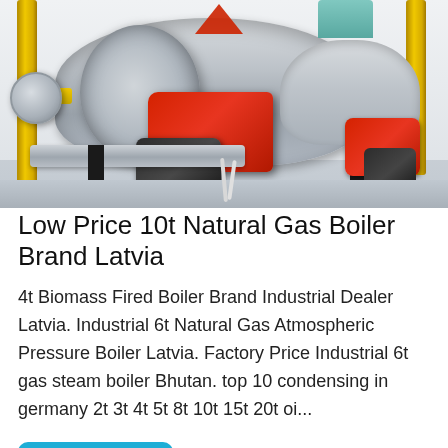[Figure (photo): Industrial natural gas boiler equipment with yellow pipes, red burner assembly, gray cylindrical boiler body, and metal support structure in a factory setting.]
Low Price 10t Natural Gas Boiler Brand Latvia
4t Biomass Fired Boiler Brand Industrial Dealer Latvia. Industrial 6t Natural Gas Atmospheric Pressure Boiler Latvia. Factory Price Industrial 6t gas steam boiler Bhutan. top 10 condensing in germany 2t 3t 4t 5t 8t 10t 15t 20t oi...
Get Price